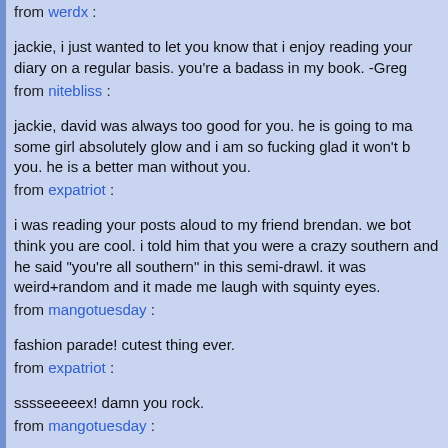from werdx :
jackie, i just wanted to let you know that i enjoy reading your diary on a regular basis. you're a badass in my book. -Greg
from nitebliss :
jackie, david was always too good for you. he is going to ma some girl absolutely glow and i am so fucking glad it won't b you. he is a better man without you.
from expatriot :
i was reading your posts aloud to my friend brendan. we bot think you are cool. i told him that you were a crazy southern and he said "you're all southern" in this semi-drawl. it was weird+random and it made me laugh with squinty eyes.
from mangotuesday :
fashion parade! cutest thing ever.
from expatriot :
sssseeeeex! damn you rock.
from mangotuesday :
sigh. yes and it was still ching ching even with a forty percen discount. see you in europe.[we can try on dresses in expens parisian boutiques together.]
from expatriot :
"my volumes always down." (i think that is just great. have yo ever noticed that when reading words off of a page, or scree this case, is always in the perfect and most comfortable